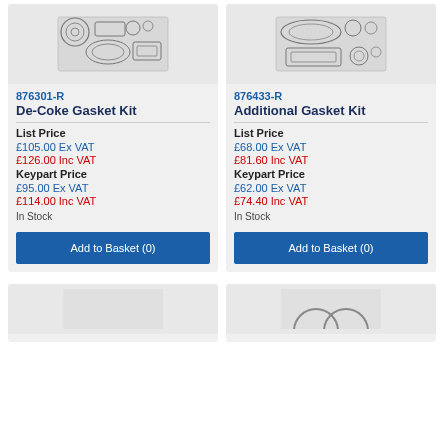[Figure (illustration): De-Coke Gasket Kit product image showing gasket parts layout]
876301-R
De-Coke Gasket Kit
List Price
£105.00 Ex VAT
£126.00 Inc VAT
Keypart Price
£95.00 Ex VAT
£114.00 Inc VAT
In Stock
Add to Basket (0)
[Figure (illustration): Additional Gasket Kit product image showing gasket parts layout]
876433-R
Additional Gasket Kit
List Price
£68.00 Ex VAT
£81.60 Inc VAT
Keypart Price
£62.00 Ex VAT
£74.40 Inc VAT
In Stock
Add to Basket (0)
[Figure (illustration): Bottom left product image partially visible]
[Figure (illustration): Bottom right product image partially visible showing circular gasket]